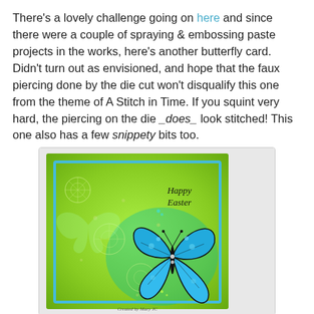There's a lovely challenge going on here and since there were a couple of spraying & embossing paste projects in the works, here's another butterfly card. Didn't turn out as envisioned, and hope that the faux piercing done by the die cut won't disqualify this one from the theme of A Stitch in Time. If you squint very hard, the piercing on the die _does_ look stitched! This one also has a few snippety bits too.
[Figure (photo): A handmade Easter card with a green textured background featuring embossed flower designs and a bright blue butterfly die cut. The card reads 'Happy Easter' in script. There is a blue mat layer and the background has yellow-green spray ink with teal shadow effects. The card is credited to 'Created by Mary JC'.]